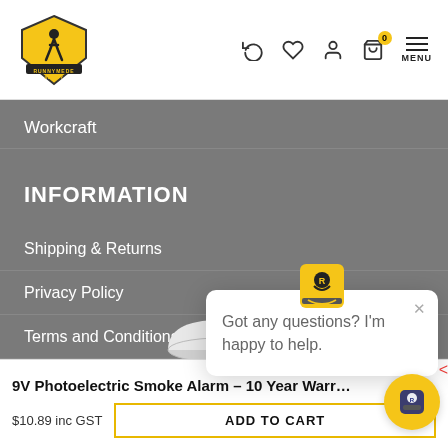[Figure (logo): Runnymede Safety logo - yellow shield with stylized running figure]
[Figure (screenshot): Navigation header icons: refresh, heart/wishlist, user account, shopping cart with badge showing 0, hamburger menu with MENU label]
Workcraft
INFORMATION
Shipping & Returns
Privacy Policy
Terms and Conditions
Disclaimer
Latest News
Who We Are
[Figure (screenshot): Chat popup widget with icon, close button, and text: Got any questions? I'm happy to help.]
Got any questions? I'm happy to help.
9V Photoelectric Smoke Alarm – 10 Year Warr…
$10.89 inc GST
ADD TO CART